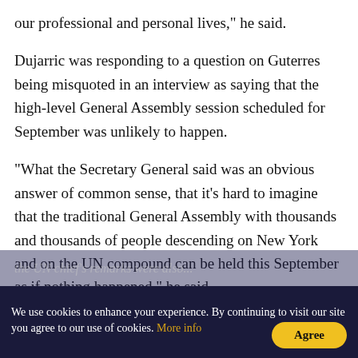our professional and personal lives," he said.
Dujarric was responding to a question on Guterres being misquoted in an interview as saying that the high-level General Assembly session scheduled for September was unlikely to happen.
"What the Secretary General said was an obvious answer of common sense, that it's hard to imagine that the traditional General Assembly with thousands and thousands of people descending on New York and on the UN compound can be held this September as if nothing happened," he said.
We use cookies to enhance your experience. By continuing to visit our site you agree to our use of cookies. More info